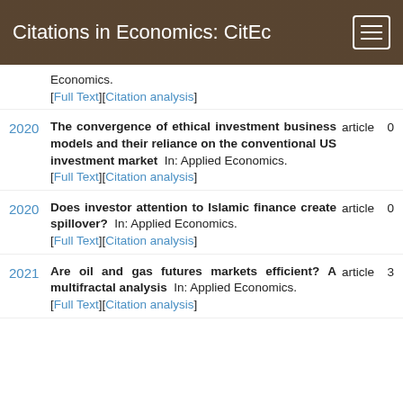Citations in Economics: CitEc
Economics.
[Full Text][Citation analysis]
2020 — The convergence of ethical investment business models and their reliance on the conventional US investment market In: Applied Economics. [Full Text][Citation analysis] article 0
2020 — Does investor attention to Islamic finance create spillover? In: Applied Economics. [Full Text][Citation analysis] article 0
2021 — Are oil and gas futures markets efficient? A multifractal analysis In: Applied Economics. [Full Text][Citation analysis] article 3